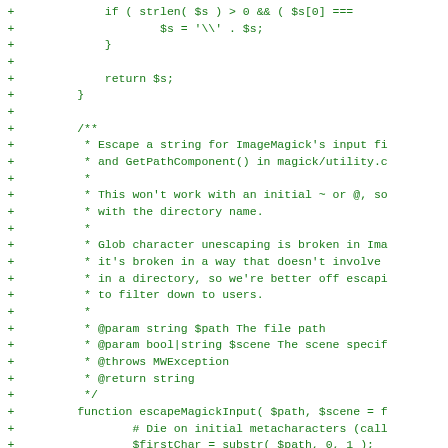[Figure (screenshot): A code diff snippet showing PHP source code with green '+' diff markers on the left. The code shows a function with string escaping logic and a docblock comment for escapeMagickInput(), including parameter and return type annotations, followed by the beginning of the function implementation.]